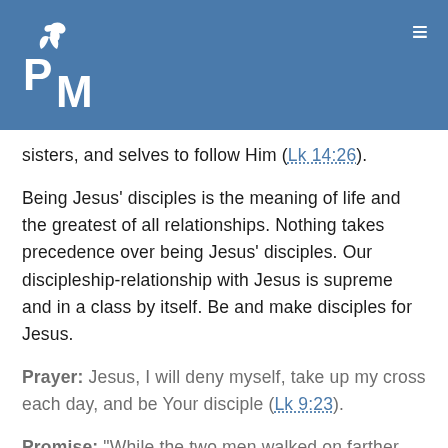[Figure (logo): PM logo with dove/leaf icon in white on blue background, with hamburger menu icon top right]
sisters, and selves to follow Him (Lk 14:26).
Being Jesus' disciples is the meaning of life and the greatest of all relationships. Nothing takes precedence over being Jesus' disciples. Our discipleship-relationship with Jesus is supreme and in a class by itself. Be and make disciples for Jesus.
Prayer:  Jesus, I will deny myself, take up my cross each day, and be Your disciple (Lk 9:23).
Promise:  "While the two men walked on farther